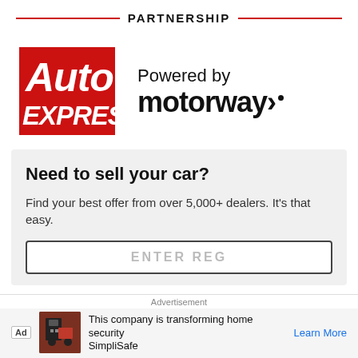PARTNERSHIP
[Figure (logo): Auto Express logo — red background rectangle with white bold italic text 'Auto' on top and 'EXPRESS' below]
Powered by motorway·
Need to sell your car?
Find your best offer from over 5,000+ dealers. It's that easy.
ENTER REG
Advertisement
Ad  This company is transforming home security SimpliSafe  Learn More